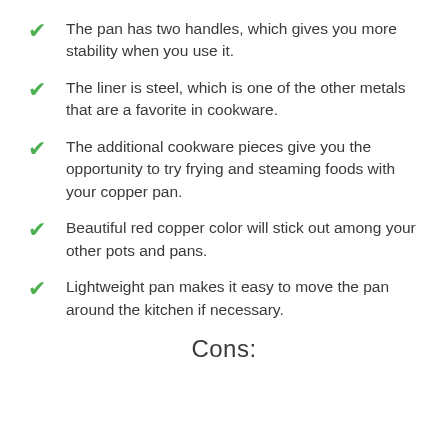The pan has two handles, which gives you more stability when you use it.
The liner is steel, which is one of the other metals that are a favorite in cookware.
The additional cookware pieces give you the opportunity to try frying and steaming foods with your copper pan.
Beautiful red copper color will stick out among your other pots and pans.
Lightweight pan makes it easy to move the pan around the kitchen if necessary.
Cons: